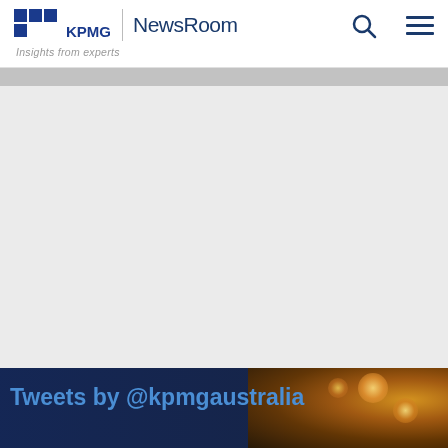KPMG | NewsRoom — Insights from experts
[Figure (screenshot): Large gray empty content area below the header navigation bar]
[Figure (screenshot): Bottom image area showing 'Tweets by @kpmgaustralia' text overlay on a dark background with warm light bokeh effects on the right side]